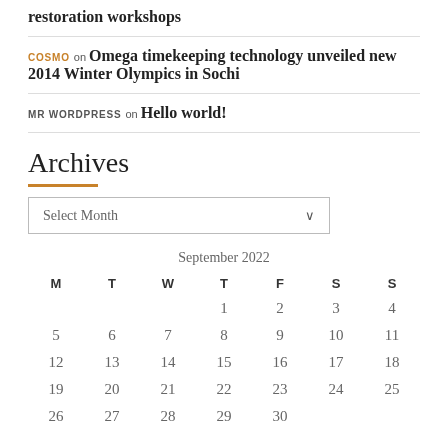restoration workshops
COSMO on Omega timekeeping technology unveiled new 2014 Winter Olympics in Sochi
MR WORDPRESS on Hello world!
Archives
Select Month
| M | T | W | T | F | S | S |
| --- | --- | --- | --- | --- | --- | --- |
|  |  |  | 1 | 2 | 3 | 4 |
| 5 | 6 | 7 | 8 | 9 | 10 | 11 |
| 12 | 13 | 14 | 15 | 16 | 17 | 18 |
| 19 | 20 | 21 | 22 | 23 | 24 | 25 |
| 26 | 27 | 28 | 29 | 30 |  |  |